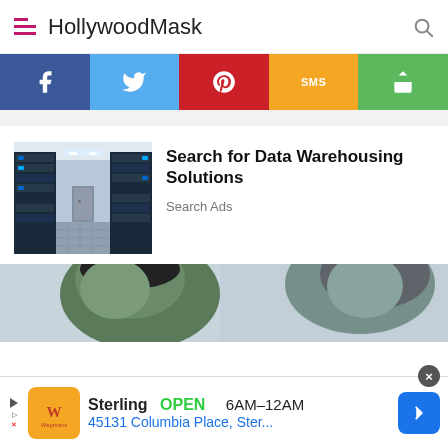HollywoodMask
[Figure (infographic): Social share buttons: Facebook (blue), Twitter (light blue), Pinterest (red), SMS (orange/yellow), Share (green)]
[Figure (photo): Data center hallway with server racks on both sides]
Search for Data Warehousing Solutions
Search Ads
[Figure (photo): Two people with green skin tones (Hulk-like) facing each other against a light sky background]
[Figure (infographic): Bottom ad banner: Wegmans store - Sterling OPEN 6AM-12AM, 45131 Columbia Place, Ster...]